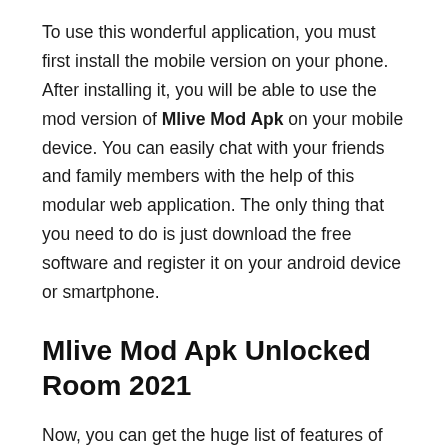To use this wonderful application, you must first install the mobile version on your phone. After installing it, you will be able to use the mod version of Mlive Mod Apk on your mobile device. You can easily chat with your friends and family members with the help of this modular web application. The only thing that you need to do is just download the free software and register it on your android device or smartphone.
Mlive Mod Apk Unlocked Room 2021
Now, you can get the huge list of features of the